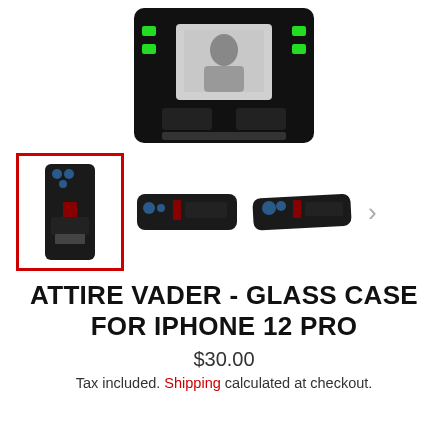[Figure (photo): Top main product image: Darth Vader iPhone case shown from above/front, close-up on dark background with green dots and screen detail]
[Figure (photo): Thumbnail row with 3 product images of Attire Vader Glass Case for iPhone 12 Pro: selected front view (red border), side/flat view, angled view. Navigation arrow on right.]
ATTIRE VADER - GLASS CASE FOR IPHONE 12 PRO
$30.00
Tax included. Shipping calculated at checkout.